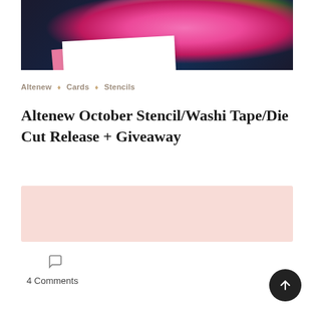[Figure (photo): Photograph of a handmade card with pink chrysanthemum flowers and green leaves on a dark background, with a white card and pink envelope visible beneath]
Altenew ♦ Cards ♦ Stencils
Altenew October Stencil/Washi Tape/Die Cut Release + Giveaway
[Figure (other): Light pink/blush colored rectangular box (likely an advertisement or placeholder)]
4 Comments